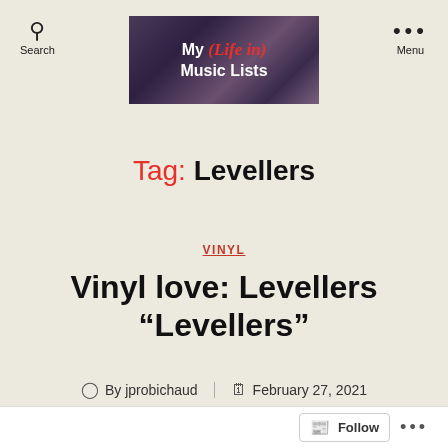My (Life in) Music Lists — Search | Menu
Tag: Levellers
VINYL
Vinyl love: Levellers “Levellers”
By jprobichaud   February 27, 2021